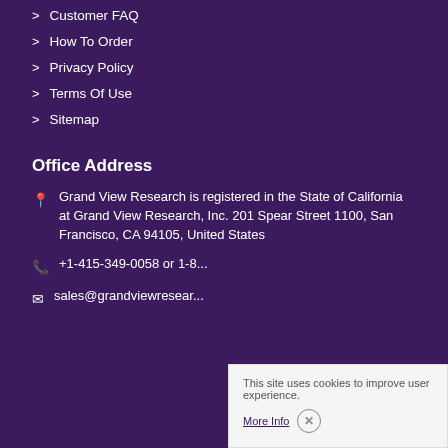Customer FAQ
How To Order
Privacy Policy
Terms Of Use
Sitemap
Office Address
Grand View Research is registered in the State of California at Grand View Research, Inc. 201 Spear Street 1100, San Francisco, CA 94105, United States
+1-415-349-0058 or 1-8...
sales@grandviewresear...